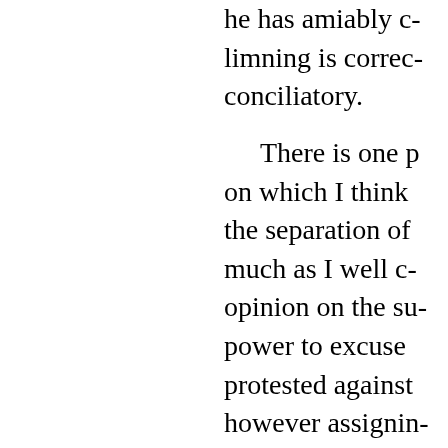he has amiably c- limning is correc- conciliatory.
There is one p- on which I think the separation of much as I well c- opinion on the su- power to excuse protested against however assignin- calculated to sati- indecorously, I co-
But I should e- rancour with whi-